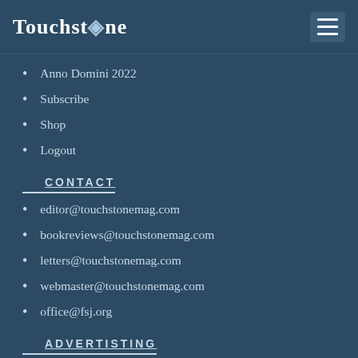Touchstone
Anno Domini 2022
Subscribe
Shop
Logout
CONTACT
editor@touchstonemag.com
bookreviews@touchstonemag.com
letters@touchstonemag.com
webmaster@touchstonemag.com
office@fsj.org
ADVERTISTING
Rate Card 🔗
PMA